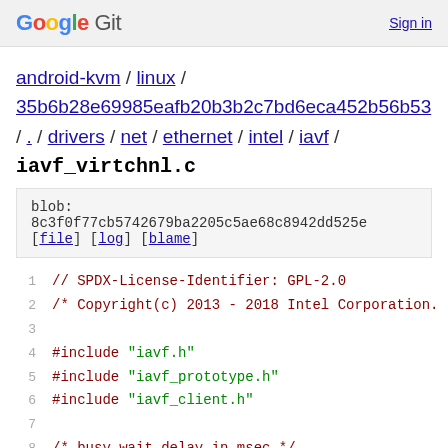Google Git  Sign in
android-kvm / linux / 35b6b28e69985eafb20b3b2c7bd6eca452b56b53 / . / drivers / net / ethernet / intel / iavf /
iavf_virtchnl.c
blob: 8c3f0f77cb5742679ba2205c5ae68c8942dd525e [file] [log] [blame]
1  // SPDX-License-Identifier: GPL-2.0
2  /* Copyright(c) 2013 - 2018 Intel Corporation.
3  
4  #include "iavf.h"
5  #include "iavf_prototype.h"
6  #include "iavf_client.h"
7  
8  /* busy wait delay in msec */